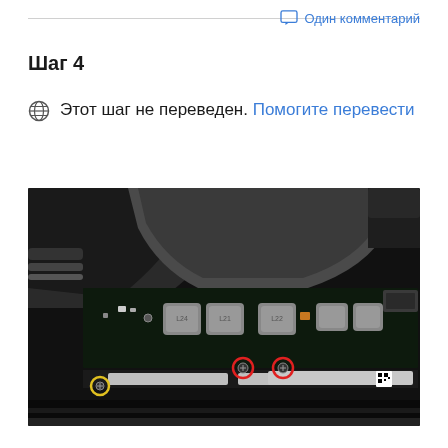Один комментарий
Шаг 4
Этот шаг не переведен. Помогите перевести
[Figure (photo): Close-up photograph of a MacBook logic board showing inductors, capacitors, and other components on a dark PCB. Two red-circled screws are visible in the lower-middle area, and a yellow-circled screw is at the lower-left. A silver shielding plate is visible in the lower-right section.]